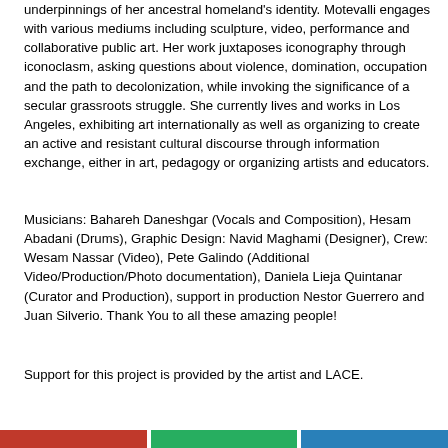underpinnings of her ancestral homeland's identity. Motevalli engages with various mediums including sculpture, video, performance and collaborative public art. Her work juxtaposes iconography through iconoclasm, asking questions about violence, domination, occupation and the path to decolonization, while invoking the significance of a secular grassroots struggle. She currently lives and works in Los Angeles, exhibiting art internationally as well as organizing to create an active and resistant cultural discourse through information exchange, either in art, pedagogy or organizing artists and educators.
Musicians: Bahareh Daneshgar (Vocals and Composition), Hesam Abadani (Drums), Graphic Design: Navid Maghami (Designer), Crew: Wesam Nassar (Video), Pete Galindo (Additional Video/Production/Photo documentation), Daniela Lieja Quintanar (Curator and Production), support in production Nestor Guerrero and Juan Silverio. Thank You to all these amazing people!
Support for this project is provided by the artist and LACE.
[Figure (illustration): Colored bar segments at the bottom of the page — red, green, and blue horizontal bands]